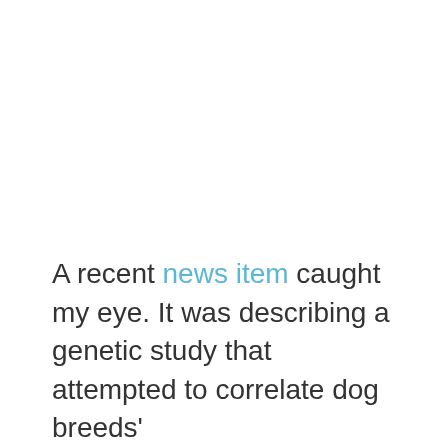A recent news item caught my eye. It was describing a genetic study that attempted to correlate dog breeds'